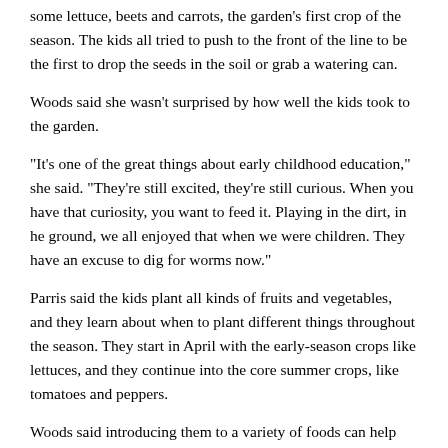some lettuce, beets and carrots, the garden's first crop of the season. The kids all tried to push to the front of the line to be the first to drop the seeds in the soil or grab a watering can.
Woods said she wasn't surprised by how well the kids took to the garden.
"It's one of the great things about early childhood education," she said. "They're still excited, they're still curious. When you have that curiosity, you want to feed it. Playing in the dirt, in he ground, we all enjoyed that when we were children. They have an excuse to dig for worms now."
Parris said the kids plant all kinds of fruits and vegetables, and they learn about when to plant different things throughout the season. They start in April with the early-season crops like lettuces, and they continue into the core summer crops, like tomatoes and peppers.
Woods said introducing them to a variety of foods can help students establish better eating habits.